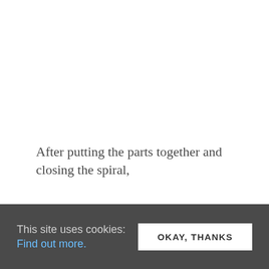After putting the parts together and closing the spiral,
This site uses cookies: Find out more.
OKAY, THANKS